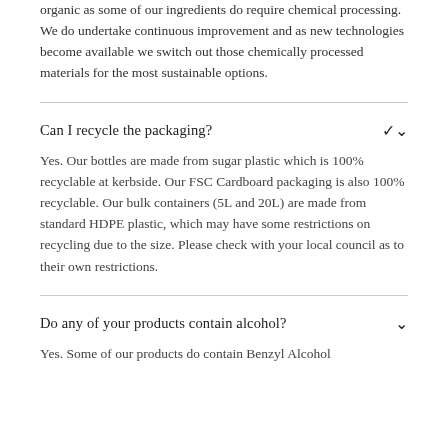organic as some of our ingredients do require chemical processing.  We do undertake continuous improvement and as new technologies become available we switch out those chemically processed materials for the most sustainable options.
Can I recycle the packaging?
Yes. Our bottles are made from sugar plastic which is 100% recyclable at kerbside. Our FSC Cardboard packaging is also 100% recyclable. Our bulk containers (5L and 20L) are made from standard HDPE plastic, which may have some restrictions on recycling due to the size. Please check with your local council as to their own restrictions.
Do any of your products contain alcohol?
Yes. Some of our products do contain Benzyl Alcohol